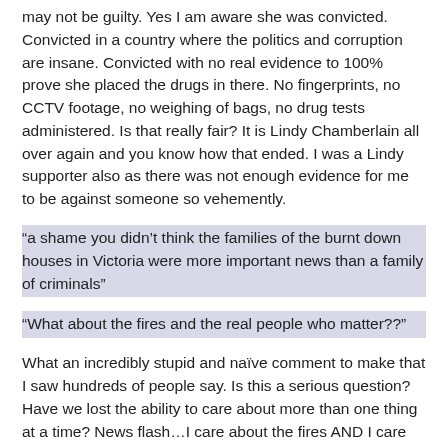may not be guilty. Yes I am aware she was convicted. Convicted in a country where the politics and corruption are insane. Convicted with no real evidence to 100% prove she placed the drugs in there. No fingerprints, no CCTV footage, no weighing of bags, no drug tests administered. Is that really fair? It is Lindy Chamberlain all over again and you know how that ended. I was a Lindy supporter also as there was not enough evidence for me to be against someone so vehemently.
“a shame you didn’t think the families of the burnt down houses in Victoria were more important news than a family of criminals”
“What about the fires and the real people who matter??”
What an incredibly stupid and naïve comment to make that I saw hundreds of people say. Is this a serious question? Have we lost the ability to care about more than one thing at a time? News flash…I care about the fires AND I care about Schapelle AND I care about who wins an Olympic Gold AND I care about the loss of Toyota jobs AND I care that rapists and killers are being freed after a few years or less in jail. I